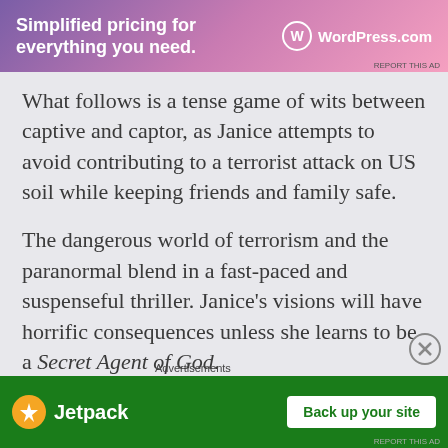[Figure (screenshot): WordPress.com advertisement banner: 'Simplified pricing for everything you need.' with WordPress.com logo]
What follows is a tense game of wits between captive and captor, as Janice attempts to avoid contributing to a terrorist attack on US soil while keeping friends and family safe.
The dangerous world of terrorism and the paranormal blend in a fast-paced and suspenseful thriller. Janice's visions will have horrific consequences unless she learns to be a Secret Agent of God.
[Figure (screenshot): Jetpack advertisement: 'Back up your site' button on green background with Jetpack logo]